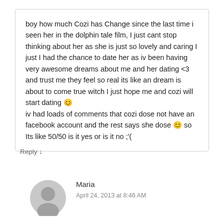boy how much Cozi has Change since the last time i seen her in the dolphin tale film, I just cant stop thinking about her as she is just so lovely and caring I just I had the chance to date her as iv been having very awesome dreams about me and her dating <3 and trust me they feel so real its like an dream is about to come true witch I just hope me and cozi will start dating 😊 iv had loads of comments that cozi dose not have an facebook account and the rest says she dose 😊 so Its like 50/50 is it yes or is it no ;'(
Reply ↓
[Figure (illustration): Grey circular avatar placeholder for user Maria]
Maria
April 24, 2013 at 8:46 AM